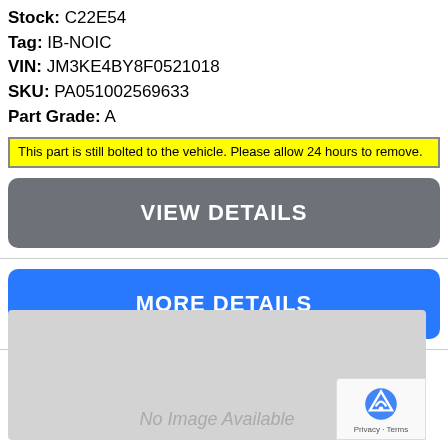Stock: C22E54
Tag: IB-NOIC
VIN: JM3KE4BY8F0521018
SKU: PA051002569633
Part Grade: A
This part is still bolted to the vehicle. Please allow 24 hours to remove.
VIEW DETAILS
MORE DETAILS
[Figure (other): Gray placeholder box with text 'No Image Available']